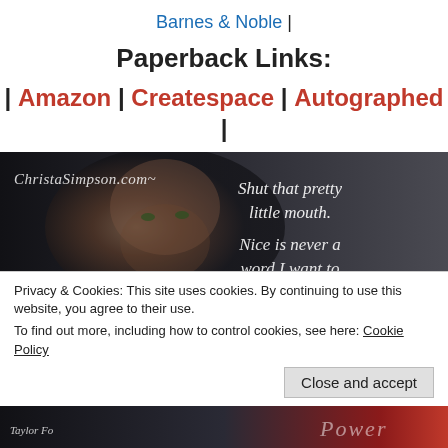Barnes & Noble |
Paperback Links:
| Amazon | Createspace | Autographed |
[Figure (photo): Promotional book cover image showing a man's face in dark tones with cursive text overlay reading 'ChristaSimpson.com' and 'Shut that pretty little mouth. Nice is never a word I want to']
Privacy & Cookies: This site uses cookies. By continuing to use this website, you agree to their use.
To find out more, including how to control cookies, see here: Cookie Policy
Close and accept